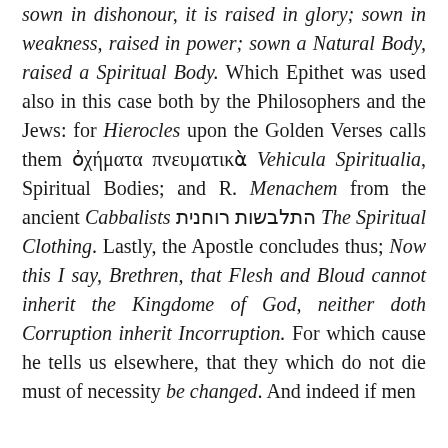sown in dishonour, it is raised in glory; sown in weakness, raised in power; sown a Natural Body, raised a Spiritual Body. Which Epithet was used also in this case both by the Philosophers and the Jews: for Hierocles upon the Golden Verses calls them ὀχήματα πνευματικὰ Vehicula Spiritualia, Spiritual Bodies; and R. Menachem from the ancient Cabbalists התלבשות רוחנית The Spiritual Clothing. Lastly, the Apostle concludes thus; Now this I say, Brethren, that Flesh and Bloud cannot inherit the Kingdome of God, neither doth Corruption inherit Incorruption. For which cause he tells us elsewhere, that they which do not die must of necessity be changed. And indeed if men